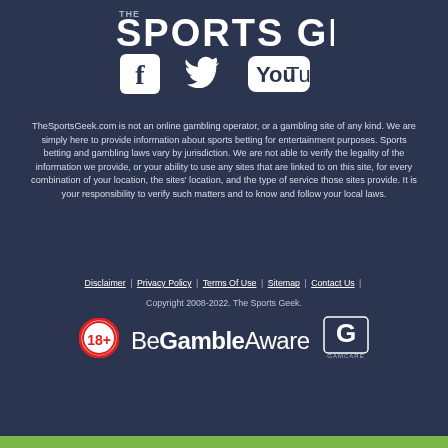[Figure (logo): The Sports Geek logo - white text on dark background]
[Figure (illustration): Social media icons: Facebook, Twitter, YouTube in white]
TheSportsGeek.com is not an online gambling operator, or a gambling site of any kind. We are simply here to provide information about sports betting for entertainment purposes. Sports betting and gambling laws vary by jurisdiction. We are not able to verify the legality of the information we provide, or your ability to use any sites that are linked to on this site, for every combination of your location, the sites' location, and the type of service those sites provide. It is your responsibility to verify such matters and to know and follow your local laws.
Disclaimer | Privacy Policy | Terms Of Use | Sitemap | Contact Us |
Copyright 2008-2022. The Sports Geek.
[Figure (logo): 18+ badge, BeGambleAware logo, and GamCare logo]